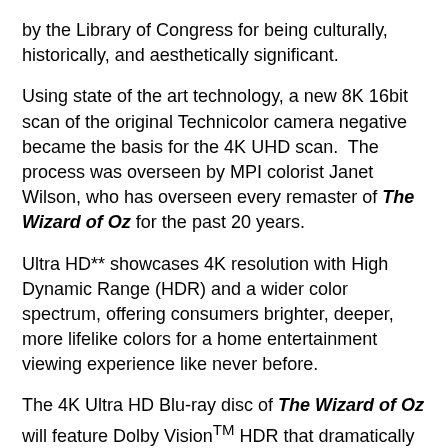by the Library of Congress for being culturally, historically, and aesthetically significant.
Using state of the art technology, a new 8K 16bit scan of the original Technicolor camera negative became the basis for the 4K UHD scan.  The process was overseen by MPI colorist Janet Wilson, who has overseen every remaster of The Wizard of Oz for the past 20 years.
Ultra HD** showcases 4K resolution with High Dynamic Range (HDR) and a wider color spectrum, offering consumers brighter, deeper, more lifelike colors for a home entertainment viewing experience like never before.
The 4K Ultra HD Blu-ray disc of The Wizard of Oz will feature Dolby VisionTM HDR that dramatically expands the color palette and contrast range and uses dynamic metadata to automatically optimize the picture for every screen — frame by frame.
The Wizard of Oz will be available on Ultra HD Blu-ray Combo Pack for $41.99 SRP and features an Ultra HD Blu-ray disc with the feature film in 4K with HDR and a Blu-ray